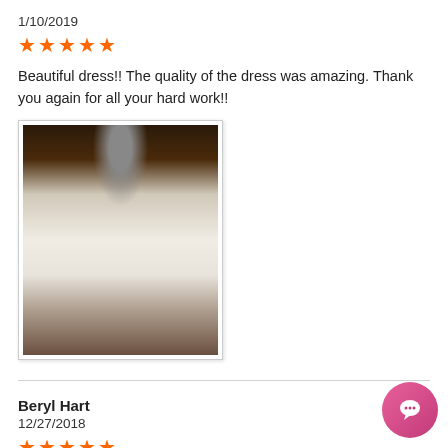1/10/2019
[Figure (illustration): Five orange star rating icons]
Beautiful dress!! The quality of the dress was amazing. Thank you again for all your hard work!!
[Figure (photo): Photo of a person wearing a white dress with blue applique top, taking a mirror selfie]
Beryl Hart
12/27/2018
[Figure (illustration): Five orange star rating icons]
This dress is gorgeous! It looks great with sandals or heels, but I especially love it with appliques. Beautiful color! Fits perfect. It is, however, a nice casu made of tulle fabric and feels very comfortable.